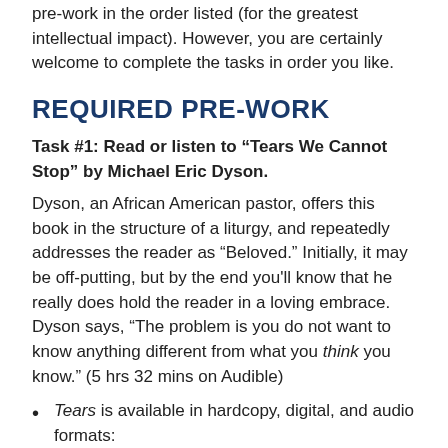pre-work in the order listed (for the greatest intellectual impact). However, you are certainly welcome to complete the tasks in order you like.
REQUIRED PRE-WORK
Task #1: Read or listen to “Tears We Cannot Stop” by Michael Eric Dyson.
Dyson, an African American pastor, offers this book in the structure of a liturgy, and repeatedly addresses the reader as “Beloved.” Initially, it may be off-putting, but by the end you'll know that he really does hold the reader in a loving embrace. Dyson says, “The problem is you do not want to know anything different from what you think you know.” (5 hrs 32 mins on Audible)
Tears is available in hardcopy, digital, and audio formats:
Amazon Kindle or Hardcopy (LINK)